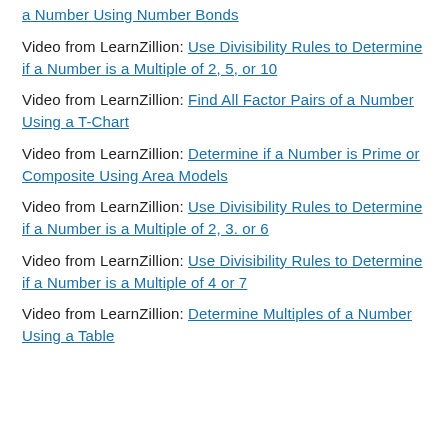a Number Using Number Bonds
Video from LearnZillion: Use Divisibility Rules to Determine if a Number is a Multiple of 2, 5, or 10
Video from LearnZillion: Find All Factor Pairs of a Number Using a T-Chart
Video from LearnZillion: Determine if a Number is Prime or Composite Using Area Models
Video from LearnZillion: Use Divisibility Rules to Determine if a Number is a Multiple of 2, 3. or 6
Video from LearnZillion: Use Divisibility Rules to Determine if a Number is a Multiple of 4 or 7
Video from LearnZillion: Determine Multiples of a Number Using a Table